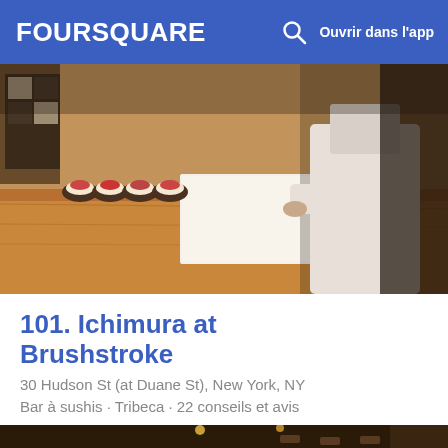FOURSQUARE  Ouvrir dans l'app
[Figure (photo): Photo of a sushi chef at a wooden counter preparing sushi, with multiple small sushi pieces lined up on a white cutting board. Dimly lit restaurant setting.]
101. Ichimura at Brushstroke
30 Hudson St (at Duane St), New York, NY
Bar à sushis · Tribeca · 22 conseils et avis
[Figure (photo): Interior photo of a bar/restaurant with dark decor, pendant lights, bar stools, and a well-stocked bar shelf with bottles on the right side.]